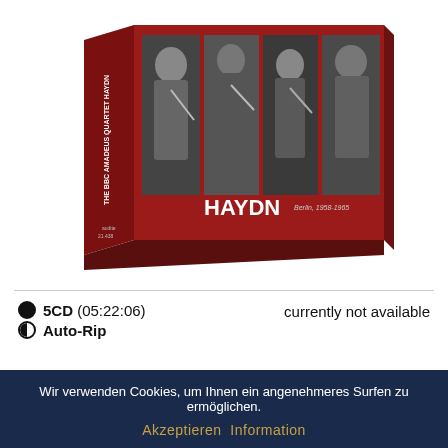[Figure (photo): Product image of a red CD box set titled 'HAYDN' by the Amadeus Quartet (THE BBC AMADEUS QUARTET HAYDN), showing four musicians playing string instruments in black and white photos on the front of the box. The box spine and front are deep red. Text on box: 'Berlin, 1958-1965', 'audite', '21.438'. 5CD box set.]
● 5CD (05:22:06)    currently not available
↺ Auto-Rip
Wir verwenden Cookies, um Ihnen ein angenehmeres Surfen zu ermöglichen.
Akzeptieren  Information